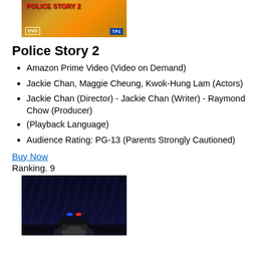[Figure (photo): Police Story 2 DVD cover with orange/yellow background and red text]
Police Story 2
Amazon Prime Video (Video on Demand)
Jackie Chan, Maggie Cheung, Kwok-Hung Lam (Actors)
Jackie Chan (Director) - Jackie Chan (Writer) - Raymond Chow (Producer)
(Playback Language)
Audience Rating: PG-13 (Parents Strongly Cautioned)
Buy Now
Ranking. 9
[Figure (photo): True Ghost Stories movie cover with dark rainy scene and police car with blue lights]